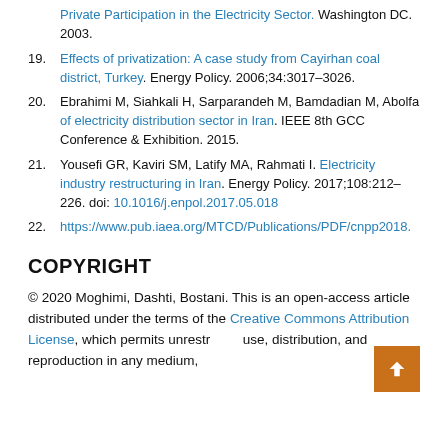Private Participation in the Electricity Sector. Washington DC. 2003.
19. Effects of privatization: A case study from Cayirhan coal district, Turkey. Energy Policy. 2006;34:3017–3026.
20. Ebrahimi M, Siahkali H, Sarparandeh M, Bamdadian M, Abolfa… of electricity distribution sector in Iran. IEEE 8th GCC Conference & Exhibition. 2015.
21. Yousefi GR, Kaviri SM, Latify MA, Rahmati I. Electricity industry restructuring in Iran. Energy Policy. 2017;108:212–226. doi: 10.1016/j.enpol.2017.05.018
22. https://www.pub.iaea.org/MTCD/Publications/PDF/cnpp2018.
COPYRIGHT
© 2020 Moghimi, Dashti, Bostani. This is an open-access article distributed under the terms of the Creative Commons Attribution License, which permits unrestricted use, distribution, and reproduction in any medium,